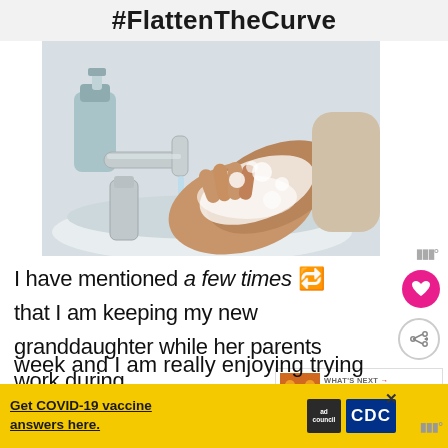#FlattenTheCurve
[Figure (photo): Photo of person washing soapy hands under a chrome faucet over a white sink, with a blue soap dispenser in the background]
I have mentioned a few times 🔁 that I am keeping my new granddaughter while her parents work during week and I am really enjoying trying
[Figure (infographic): WHAT'S NEXT → Moustache Smash Gam...]
Get COVID-19 vaccine answers here.